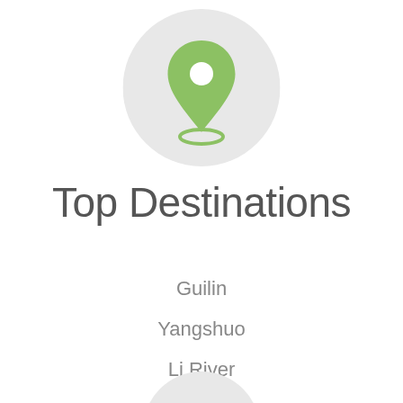[Figure (illustration): A green map location pin icon centered inside a light gray circle]
Top Destinations
Guilin
Yangshuo
Li River
Longsheng
[Figure (illustration): Partial light gray circle visible at the bottom of the page]